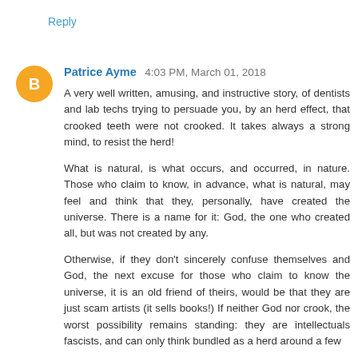Reply
Patrice Ayme  4:03 PM, March 01, 2018
A very well written, amusing, and instructive story, of dentists and lab techs trying to persuade you, by an herd effect, that crooked teeth were not crooked. It takes always a strong mind, to resist the herd!
What is natural, is what occurs, and occurred, in nature. Those who claim to know, in advance, what is natural, may feel and think that they, personally, have created the universe. There is a name for it: God, the one who created all, but was not created by any.
Otherwise, if they don’t sincerely confuse themselves and God, the next excuse for those who claim to know the universe, it is an old friend of theirs, would be that they are just scam artists (it sells books!) If neither God nor crook, the worst possibility remains standing: they are intellectuals fascists, and can only think bundled as a herd around a few